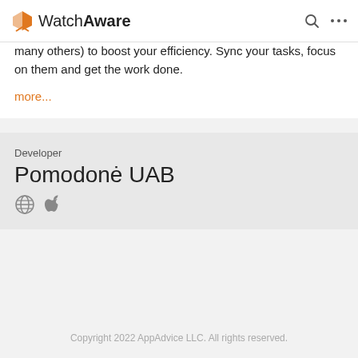WatchAware
many others) to boost your efficiency. Sync your tasks, focus on them and get the work done.
more...
Developer
Pomodonė UAB
Copyright 2022 AppAdvice LLC. All rights reserved.